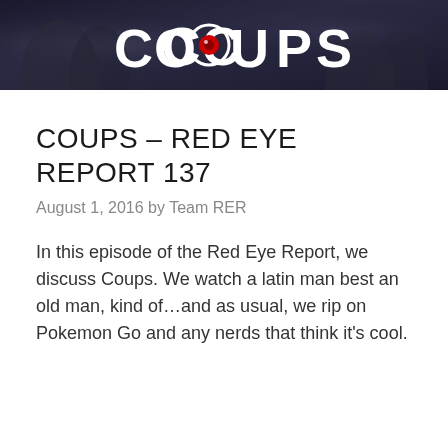[Figure (photo): Dark banner image showing the word COUPS in large white bold letters with a red eye logo replacing the letter O, against a dark background with shadowy figures]
COUPS – RED EYE REPORT 137
August 1, 2016 by Team RER
In this episode of the Red Eye Report, we discuss Coups. We watch a latin man best an old man, kind of…and as usual, we rip on Pokemon Go and any nerds that think it's cool.